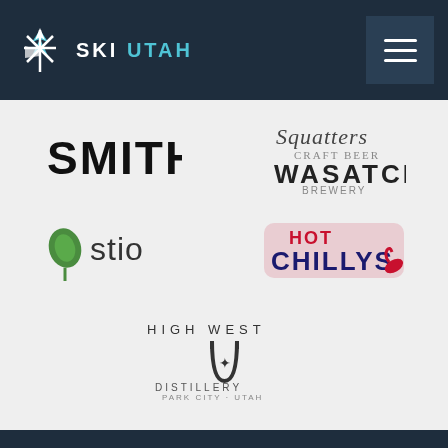[Figure (logo): Ski Utah logo with white snowflake/skier icon and SKI UTAH text in white on dark navy header]
[Figure (logo): Hamburger menu icon (three horizontal lines) on dark blue square button]
[Figure (logo): Smith logo in black bold text on light gray background]
[Figure (logo): Squatters Craft Beer logo in cursive script on light gray background]
[Figure (logo): Wasatch Brewery logo in black text with decorative font on light gray background]
[Figure (logo): Stio logo with green hop/leaf icon and stio text on light gray background]
[Figure (logo): Hot Chillys logo with red and blue text and chili pepper graphic on light gray background]
[Figure (logo): High West Distillery Park City Utah logo with horseshoe icon and text on light gray background]
[Figure (logo): Ski Utah footer logo in white on dark navy background]
PLAN YOUR TRIP
RESORTS & SNOW